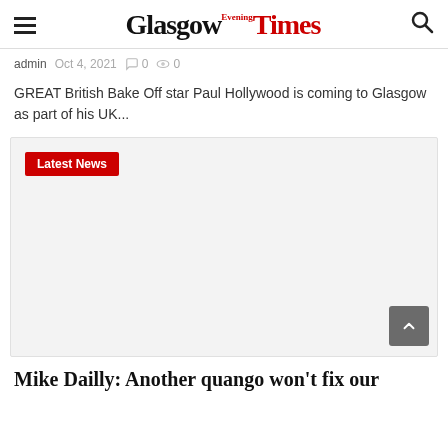Glasgow Evening Times
admin  Oct 4, 2021  0  0
GREAT British Bake Off star Paul Hollywood is coming to Glasgow as part of his UK...
[Figure (other): Article card area with Latest News badge and grey background placeholder]
Mike Dailly: Another quango won't fix our